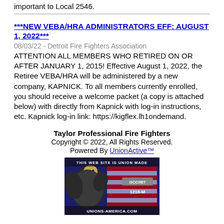important to Local 2546.
***NEW VEBA/HRA ADMINISTRATORS EFF: AUGUST 1, 2022***
08/03/22 - Detroit Fire Fighters Association
ATTENTION ALL MEMBERS WHO RETIRED ON OR AFTER JANUARY 1, 2015! Effective August 1, 2022, the Retiree VEBA/HRA will be administered by a new company, KAPNICK. To all members currently enrolled, you should receive a welcome packet (a copy is attached below) with directly from Kapnick with log-in instructions, etc. Kapnick log-in link: https://kigflex.lh1ondemand.
Taylor Professional Fire Fighters
Copyright © 2022, All Rights Reserved.
Powered By UnionActive™
[Figure (logo): Union Made badge: eagle with American flag, text THIS WEB SITE IS UNION MADE, GCC/IBT, 1218-M, UNIONS-AMERICA.COM]
Mobile | Desktop